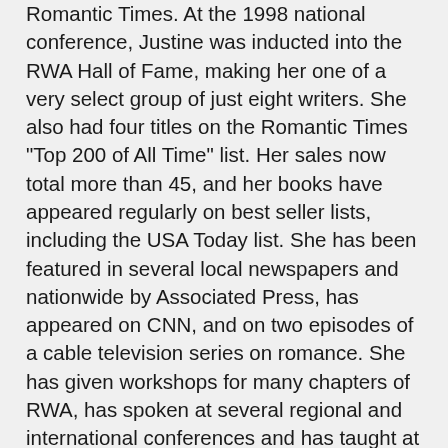Romantic Times. At the 1998 national conference, Justine was inducted into the RWA Hall of Fame, making her one of a very select group of just eight writers. She also had four titles on the Romantic Times "Top 200 of All Time" list. Her sales now total more than 45, and her books have appeared regularly on best seller lists, including the USA Today list. She has been featured in several local newspapers and nationwide by Associated Press, has appeared on CNN, and on two episodes of a cable television series on romance. She has given workshops for many chapters of RWA, has spoken at several regional and international conferences and has taught at the UCLA Writer's Program. She is also featured in North American Romance Writers, an academic reference on the romance genre. Her limited free time is spent on reading, music, photography, watching the eagles near her home, and driving her restored 1967 Corvette Roadster---top down, of course.